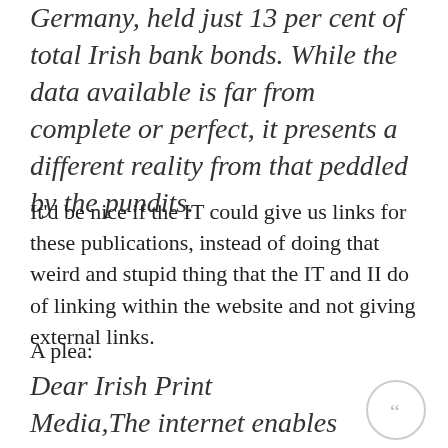Germany, held just 13 per cent of total Irish bank bonds. While the data available is far from complete or perfect, it presents a different reality from that peddled by the pundits.
It'd be nice if the IT could give us links for these publications, instead of doing that weird and stupid thing that the IT and II do of linking within the website and not giving external links.
A plea:
Dear Irish Print Media,The internet enables you to use links. They are the footnotes of the internet. If you want to look like a serious newsite and not